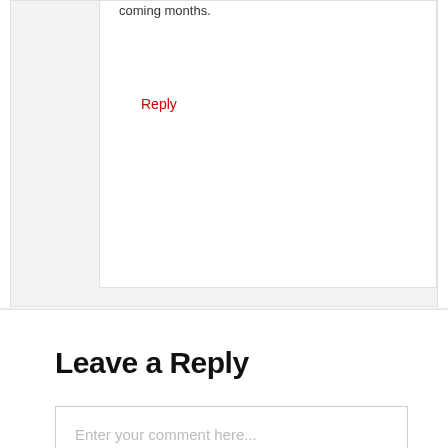coming months.
Reply
Leave a Reply
Enter your comment here...
A LITTLE LOVE?